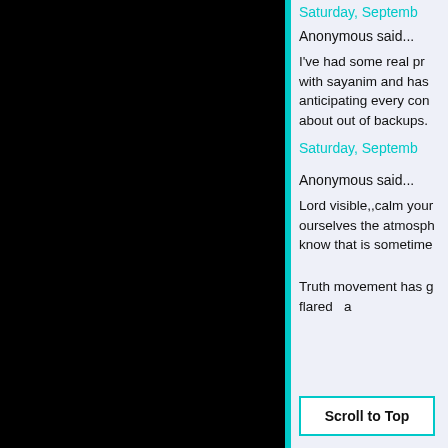Saturday, September
Anonymous said...
I've had some real pro with sayanim and has anticipating every con about out of backups.
Saturday, Septemb
Anonymous said...
Lord visible,,calm your ourselves the atmosph know that is sometime
Truth movement has g flared a
Scroll to Top